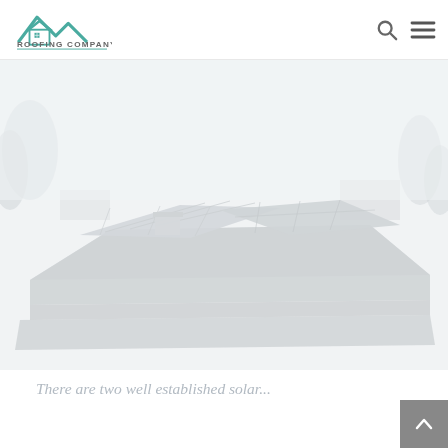[Figure (logo): Roofing Company logo with house icon and teal roof peaks, text reads ROOFING COMPANY]
[Figure (photo): Aerial or elevated view of a flat/low-slope roof with solar panels or roofing sections, very light washed-out color, grey-blue tones]
There are two well established solar...